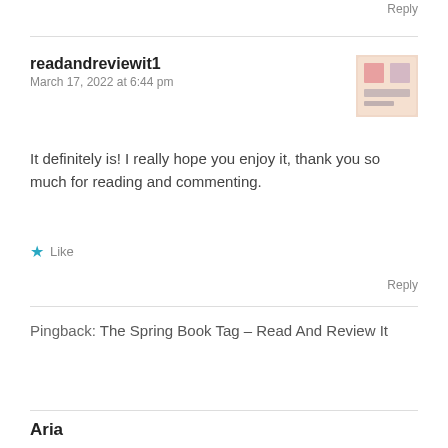Reply
readandreviewit1
March 17, 2022 at 6:44 pm
[Figure (illustration): Small blog avatar image for readandreviewit1 — pink/beige square logo]
It definitely is! I really hope you enjoy it, thank you so much for reading and commenting.
★ Like
Reply
Pingback: The Spring Book Tag – Read And Review It
Aria